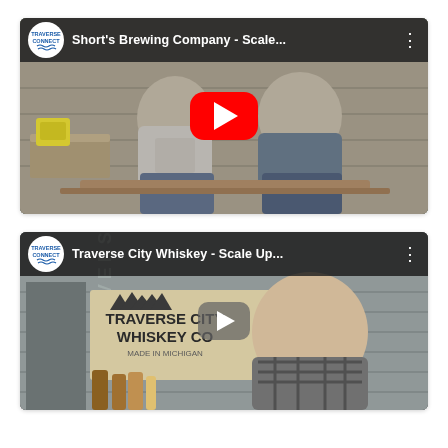[Figure (screenshot): YouTube video thumbnail for Short's Brewing Company - Scale... showing two men seated in a brewery setting with a red YouTube play button overlay and Traverse Connect logo in top bar]
[Figure (screenshot): YouTube video thumbnail for Traverse City Whiskey - Scale Up... showing a man standing in front of Traverse City Whiskey Co signage with a gray play button overlay and Traverse Connect logo in top bar]